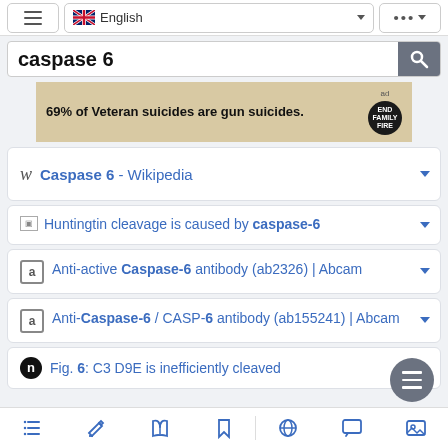[Figure (screenshot): Top navigation bar with hamburger menu, English language selector with UK flag, and options dots button]
[Figure (screenshot): Search bar with bold text 'caspase 6' and a search button]
[Figure (screenshot): Advertisement banner: '69% of Veteran suicides are gun suicides.' with an ad badge and End Family Fire logo]
Caspase 6 - Wikipedia
Huntingtin cleavage is caused by caspase-6
Anti-active Caspase-6 antibody (ab2326) | Abcam
Anti-Caspase-6 / CASP-6 antibody (ab155241) | Abcam
Fig. 6: C3 D9E is inefficiently cleaved